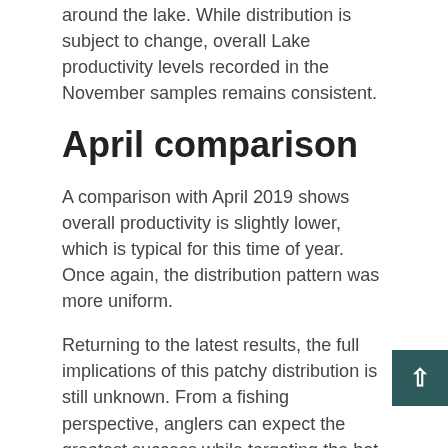around the lake. While distribution is subject to change, overall Lake productivity levels recorded in the November samples remains consistent.
April comparison
A comparison with April 2019 shows overall productivity is slightly lower, which is typical for this time of year. Once again, the distribution pattern was more uniform.
Returning to the latest results, the full implications of this patchy distribution is still unknown. From a fishing perspective, anglers can expect the greatest success while targeting the hot-spots – which is supported by reports from anglers. In terms of cause, we know phytoplankton (which occupy level 1 in the trophic chain) are unable to swim, so we believe lake currents must have a bearing on their distribution. We will better understand the factors driving this system as the